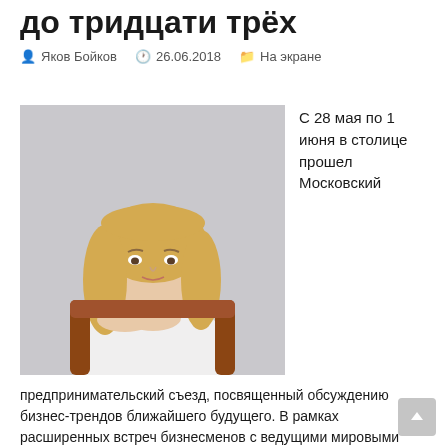до тридцати трёх
👤 Яков Бойков   🕐 26.06.2018   📁 На экране
[Figure (photo): Portrait photo of a blonde woman in a white shirt seated in a brown leather chair, looking to the side with hands clasped near chin]
С 28 мая по 1 июня в столице прошел Московский
предпринимательский съезд, посвященный обсуждению бизнес-трендов ближайшего будущего. В рамках расширенных встреч бизнесменов с ведущими мировыми экспертами, организаторы провели выставку про франчайзингу, конференцию Startup